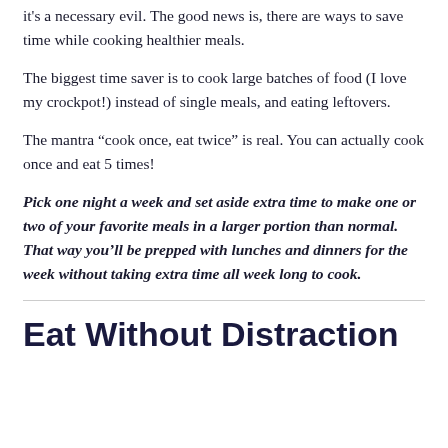it's a necessary evil. The good news is, there are ways to save time while cooking healthier meals.
The biggest time saver is to cook large batches of food (I love my crockpot!) instead of single meals, and eating leftovers.
The mantra “cook once, eat twice” is real. You can actually cook once and eat 5 times!
Pick one night a week and set aside extra time to make one or two of your favorite meals in a larger portion than normal. That way you’ll be prepped with lunches and dinners for the week without taking extra time all week long to cook.
Eat Without Distraction